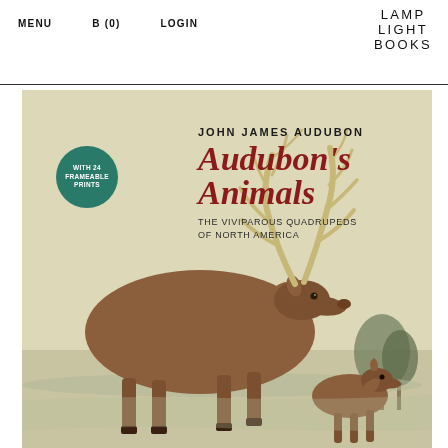MENU   B (0)   LOGIN
[Figure (logo): LAMP LIGHT BOOKS logo in stacked uppercase letters]
[Figure (illustration): Book cover of Audubon's Animals: The Viviparous Quadrupeds of North America by John James Audubon. Shows a large elk with antlers and a smaller deer against a light background. A teal circular badge reads 'WITH 24 FRAMEABLE PRINTS'. Title text in red italic serif font.]